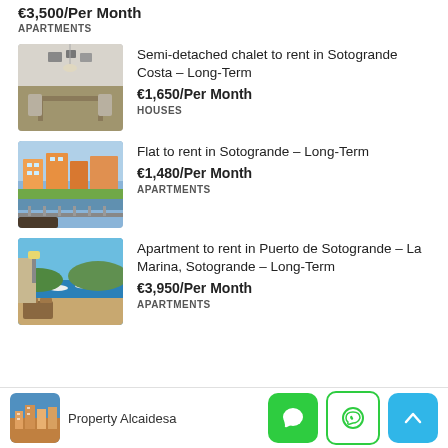€3,500/Per Month
APARTMENTS
[Figure (photo): Interior photo of a dining room with table and framed pictures on wall]
Semi-detached chalet to rent in Sotogrande Costa – Long-Term
€1,650/Per Month
HOUSES
[Figure (photo): Exterior photo of apartments with water view and balcony railing in foreground]
Flat to rent in Sotogrande – Long-Term
€1,480/Per Month
APARTMENTS
[Figure (photo): Coastal view from a balcony/terrace with marina and sea in background]
Apartment to rent in Puerto de Sotogrande – La Marina, Sotogrande – Long-Term
€3,950/Per Month
APARTMENTS
Property Alcaidesa